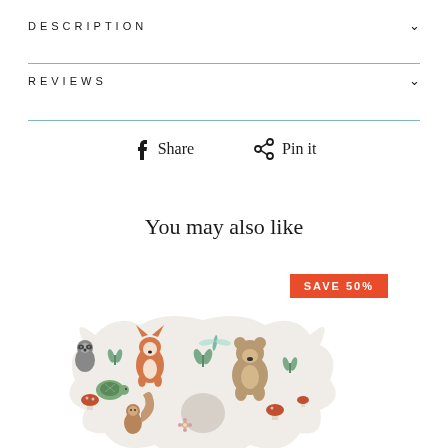DESCRIPTION
REVIEWS
Share   Pin it
You may also like
SAVE 50%
[Figure (photo): Baby head-shaping pillow with woodland animal pattern (fox, bear, turtle, squirrel, mushrooms, dragonflies) on white fabric, with a circular center hole.]